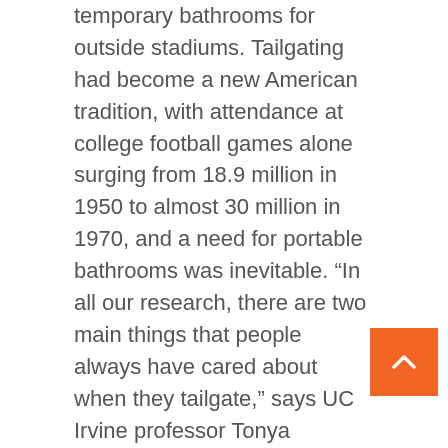temporary bathrooms for outside stadiums. Tailgating had become a new American tradition, with attendance at college football games alone surging from 18.9 million in 1950 to almost 30 million in 1970, and a need for portable bathrooms was inevitable. “In all our research, there are two main things that people always have cared about when they tailgate,” says UC Irvine professor Tonya Williams Bradford, who has studied and written extensively about tailgating in the U.S. “One is that they want a spot where their friends will know how to find them. The other thing they talk about is port-a-potties — they want them close, but not too close. They just want to be able to make a beeline for them if they need to.”
But back then, organizers usually didn’t devote much attention or money, so long lines and disastrous facilities were the norm. Many events appear to have